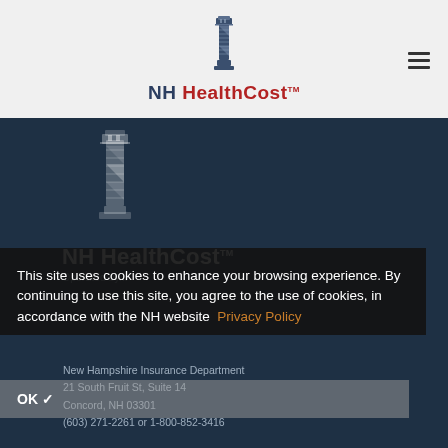[Figure (logo): NH HealthCost lighthouse logo and text in header bar]
[Figure (logo): NH HealthCost lighthouse logo and text in dark blue section, with tagline 'Operated by...']
This site uses cookies to enhance your browsing experience. By continuing to use this site, you agree to the use of cookies, in accordance with the NH website Privacy Policy
OK ✓
New Hampshire Insurance Department
21 South Fruit St, Suite 14
Concord, NH 03301
(603) 271-2261 or 1-800-852-3416